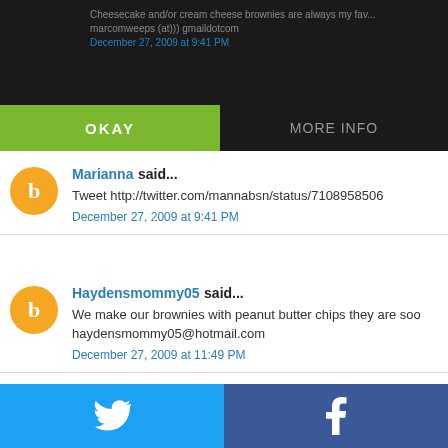Cheesecake and/or cream cheese brownies are always my fav... marcomweeps (at))) gmaildotcom
December 27, 2009 at 9:41 PM
This website uses cookies
OKAY
MORE INFO
Marianna said...
Tweet http://twitter.com/mannabsn/status/7108958506
December 27, 2009 at 9:41 PM
Haydensmommy05 said...
We make our brownies with peanut butter chips they are soo haydensmommy05@hotmail.com
December 27, 2009 at 11:49 PM
[Figure (screenshot): Social sharing buttons grid showing Twitter (blue), Facebook (dark blue), Email (gray), WhatsApp (green), SMS (blue), and a share/refresh icon (green)]